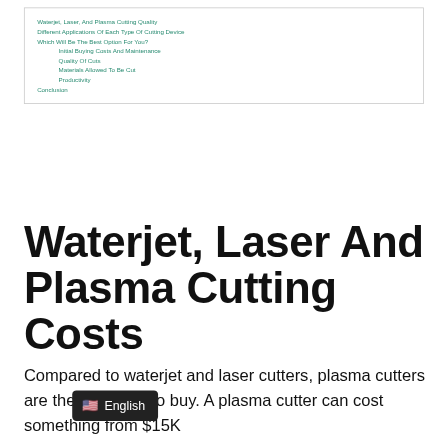Waterjet, Laser, And Plasma Cutting Quality
Different Applications Of Each Type Of Cutting Device
Which Will Be The Best Option For You?
Initial Buying Costs And Maintenance
Quality Of Cuts
Materials Allowed To Be Cut
Productivity
Conclusion
Waterjet, Laser And Plasma Cutting Costs
Compared to waterjet and laser cutters, plasma cutters are the cheapest to buy. A plasma cutter can cost something from $15K